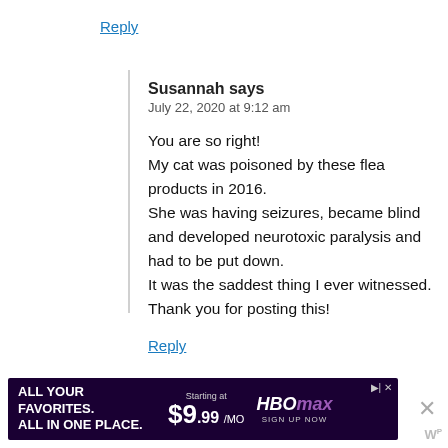Reply
Susannah says
July 22, 2020 at 9:12 am
You are so right!
My cat was poisoned by these flea products in 2016.
She was having seizures, became blind and developed neurotoxic paralysis and had to be put down.
It was the saddest thing I ever witnessed.
Thank you for posting this!
Reply
[Figure (screenshot): HBO Max advertisement banner: 'ALL YOUR FAVORITES. ALL IN ONE PLACE.' Starting at $9.99/MO. HBO max SIGN UP NOW.]